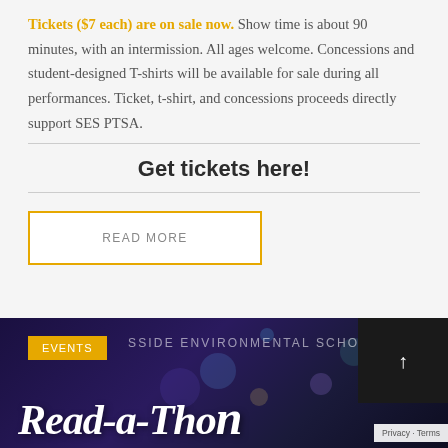Tickets ($7 each) are on sale now. Show time is about 90 minutes, with an intermission. All ages welcome. Concessions and student-designed T-shirts will be available for sale during all performances. Ticket, t-shirt, and concessions proceeds directly support SES PTSA.
Get tickets here!
READ MORE
[Figure (illustration): Dark purple/navy banner with bokeh light effects. Shows 'EVENTS' tag in orange, 'SSIDE ENVIRONMENTAL SCHOOL' text in white, and 'Read-a-Thon' in large white script lettering. Dark overlay box with up arrow in top right. Privacy Terms badge bottom right.]